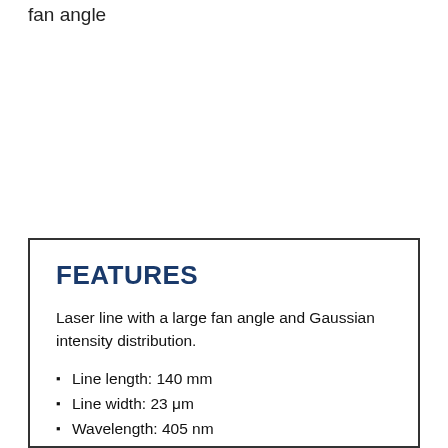fan angle
FEATURES
Laser line with a large fan angle and Gaussian intensity distribution.
Line length: 140 mm
Line width: 23 μm
Wavelength: 405 nm